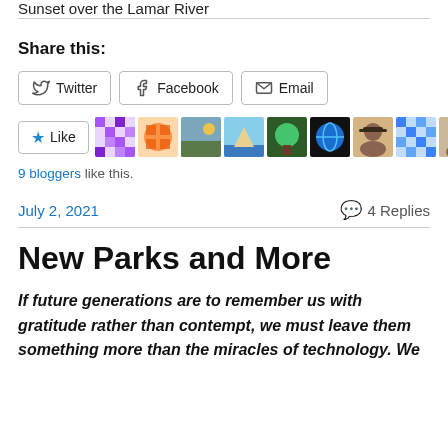Sunset over the Lamar River
Share this:
Twitter  Facebook  Email (share buttons)
[Figure (other): Like button with star icon and 9 blogger avatars]
9 bloggers like this.
July 2, 2021    4 Replies
New Parks and More
If future generations are to remember us with gratitude rather than contempt, we must leave them something more than the miracles of technology. We